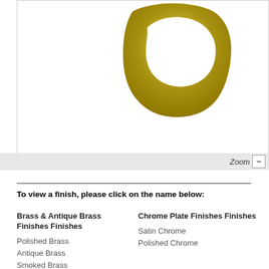[Figure (photo): A gold/polished brass decorative hardware piece, square-ish with rounded organic curved shape and an open center, photographed on white background]
Zoom -
To view a finish, please click on the name below:
Brass & Antique Brass Finishes Finishes
Polished Brass
Antique Brass
Smoked Brass
Satin Brass
Chrome Plate Finishes Finishes
Satin Chrome
Polished Chrome